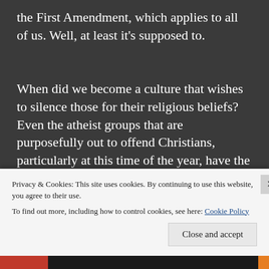the First Amendment, which applies to all of us. Well, at least it's supposed to.
When did we become a culture that wishes to silence those for their religious beliefs? Even the atheist groups that are purposefully out to offend Christians, particularly at this time of the year, have the right to their opinions. Since when did Christianity, and those with opinions and values that echo biblical standards
Privacy & Cookies: This site uses cookies. By continuing to use this website, you agree to their use.
To find out more, including how to control cookies, see here: Cookie Policy
Close and accept